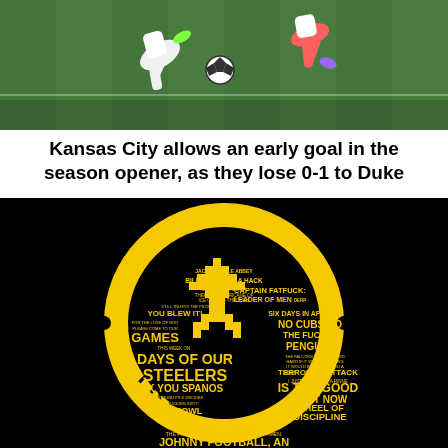[Figure (photo): Soccer/football action photo showing players on a green grass field, one player kicking a white soccer ball, another player jumping, wearing athletic gear including cleats]
Kansas City allows an early goal in the season opener, as they lose 0-1 to Duke
[Figure (illustration): Yellow and black circular logo/emblem reading 'URINATING TREE' around the border, with a pixel-art tree in the center on black background. Interior text includes: JACKSONVILLE ABBEY, BILL O'BRIEN IS A HACK, LOOK OUT RALEIGH THERE'S A HURRICANE OF ICE COMING THROUGH, CAPTAIN FATFUCK: LEADER OF MEN DERP, STILL TRUSTS THE PROCESS, YOU BLEW IT!, SIX DAYS IN APRIL, FOR THE LOVE OF GOD PLEASE COME TO OUR GAMES, NO CUBS NO, THE FUCKING PENGUINS, THIS WEEK ON DAYS OF OUR STEELERS, THE FALCONS COLLAPSED SO HARD IF IT WERE A BUILDING IT WOULD BE CONSIDERED A TERRORIST ATTACK, NEXT!, FUCK YOU SPANOS, I JUST THINK PEKKA RINNE IS TOO GOOD, FIRST ROUND PICK DECIDES TO BE A FUCKING IDIOT!, RIGHT NOW, TANK BOWL, WHEEL OF, CONGLATURATION!, DISCIPLINE, BIG DICK NICK, LOLCOW, THE FOOTBALL GODS SHOW NO MERCY. AMEN., JOHNNY FOOTBALL, AN INSULT TO THE TERM, FUCKING IDIOT]